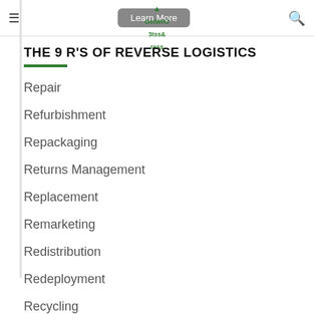THE 9 R'S OF REVERSE LOGISTICS
THE 9 R'S OF REVERSE LOGISTICS
Repair
Refurbishment
Repackaging
Returns Management
Replacement
Remarketing
Redistribution
Redeployment
Recycling